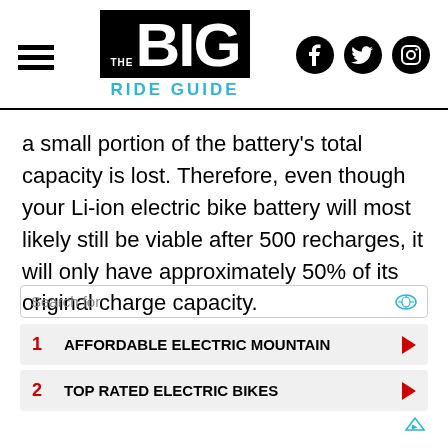THE BIG RIDE GUIDE
a small portion of the battery's total capacity is lost. Therefore, even though your Li-ion electric bike battery will most likely still be viable after 500 recharges, it will only have approximately 50% of its original charge capacity.
1 AFFORDABLE ELECTRIC MOUNTAIN
2 TOP RATED ELECTRIC BIKES